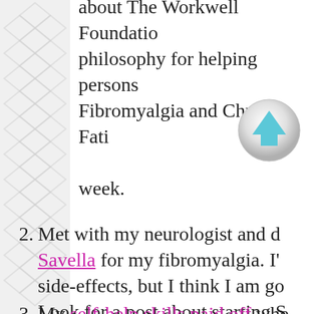about The Workwell Foundation philosophy for helping persons with Fibromyalgia and Chronic Fatigue week.
[Figure (illustration): A circular scroll-to-top button with a light gray/silver background and a blue upward-pointing arrow in the center.]
2. Met with my neurologist and discussed starting Savella for my fibromyalgia. I'm having some side-effects, but I think I am going to stick with it. Look for a post about starting Savella in the coming week or so ... I need to have some downtime (i.e., no appointments or errands outside the home) before I get started.
3. My self-help skills paid off whe...